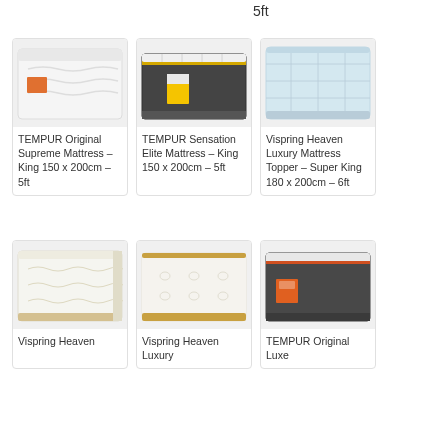5ft
[Figure (photo): TEMPUR Original Supreme Mattress product photo]
TEMPUR Original Supreme Mattress – King 150 x 200cm – 5ft
[Figure (photo): TEMPUR Sensation Elite Mattress product photo]
TEMPUR Sensation Elite Mattress – King 150 x 200cm – 5ft
[Figure (photo): Vispring Heaven Luxury Mattress Topper product photo]
Vispring Heaven Luxury Mattress Topper – Super King 180 x 200cm – 6ft
[Figure (photo): Vispring Heaven Mattress product photo]
Vispring Heaven
[Figure (photo): Vispring Heaven Luxury Mattress product photo]
Vispring Heaven Luxury
[Figure (photo): TEMPUR Original Luxe Mattress product photo]
TEMPUR Original Luxe